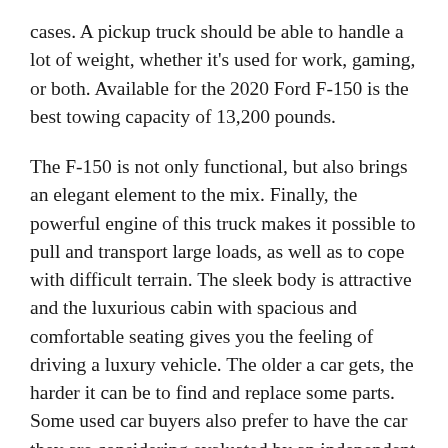cases. A pickup truck should be able to handle a lot of weight, whether it's used for work, gaming, or both. Available for the 2020 Ford F-150 is the best towing capacity of 13,200 pounds.
The F-150 is not only functional, but also brings an elegant element to the mix. Finally, the powerful engine of this truck makes it possible to pull and transport large loads, as well as to cope with difficult terrain. The sleek body is attractive and the luxurious cabin with spacious and comfortable seating gives you the feeling of driving a luxury vehicle. The older a car gets, the harder it can be to find and replace some parts. Some used car buyers also prefer to have the car they are considering evaluated by an independent mechanic, and this process can take some time.
This makes it more likely that they will sell you a used vehicle that they would be proud to have on their property that represents themselves and the brand. The 2021 Ford F-150 is an